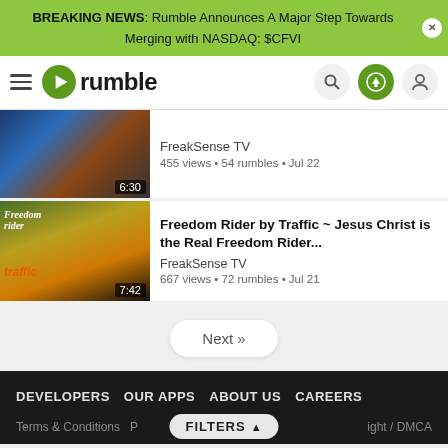BREAKING NEWS: Rumble Announces A Major Step Towards Merging with NASDAQ: $CFVI
[Figure (screenshot): Rumble website navigation bar with hamburger menu, Rumble logo, search icon, upload icon, and user icon]
[Figure (screenshot): Video thumbnail showing city/game scene with duration 6:30]
FreakSense TV
455 views • 54 rumbles • Jul 22
[Figure (screenshot): Video thumbnail for Freedom Rider by Traffic with duration 7:42]
Freedom Rider by Traffic ~ Jesus Christ is the Real Freedom Rider...
FreakSense TV
667 views • 72 rumbles • Jul 21
Next »
DEVELOPERS   OUR APPS   ABOUT US   CAREERS
Terms & Conditions   P   ight / DMCA
FILTERS ▲